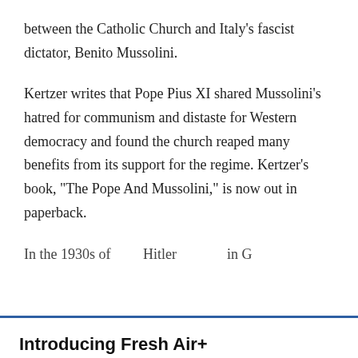between the Catholic Church and Italy's fascist dictator, Benito Mussolini.
Kertzer writes that Pope Pius XI shared Mussolini's hatred for communism and distaste for Western democracy and found the church reaped many benefits from its support for the regime. Kertzer's book, "The Pope And Mussolini," is now out in paperback.
In the 1930s of... Hitler... (partially visible, truncated)
Introducing Fresh Air+
Support the podcast you love. Listen sponsor-free. It's a win-win in the world of Fresh Air+. Sign up today for just $2.99 per month.
SUBSCRIBE